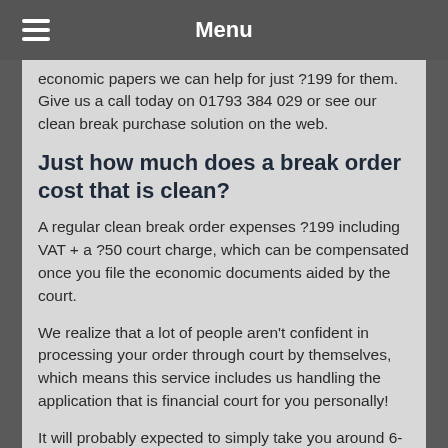Menu
economic papers we can help for just ?199 for them. Give us a call today on 01793 384 029 or see our clean break purchase solution on the web.
Just how much does a break order cost that is clean?
A regular clean break order expenses ?199 including VAT + a ?50 court charge, which can be compensated once you file the economic documents aided by the court.
We realize that a lot of people aren't confident in processing your order through court by themselves, which means this service includes us handling the application that is financial court for you personally!
It will probably expected to simply take you around 6-8 months to acquire a clean break purchase, but this differs from court-to-court and exactly how you plan it the…